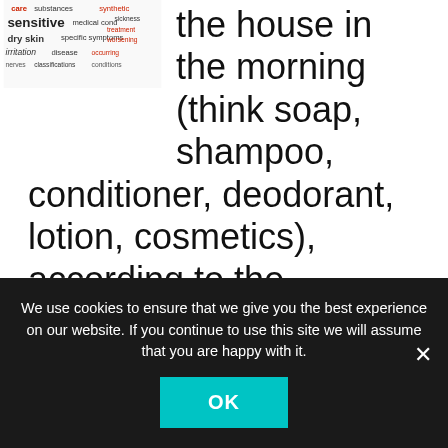[Figure (illustration): Word cloud image with health/skincare related terms in red and dark text including: care, substances, synthetic, sickness, sensitive, medical conditions, treatment, dry skin, specific symptoms, worsening, irritation, disease, occurring, nerves, classifications, conditions]
the house in the morning (think soap, shampoo, conditioner, deodorant, lotion, cosmetics), according to the Environmental Working Group. When combining the amount of products we are exposed to with the fact that many may have
We use cookies to ensure that we give you the best experience on our website. If you continue to use this site we will assume that you are happy with it.